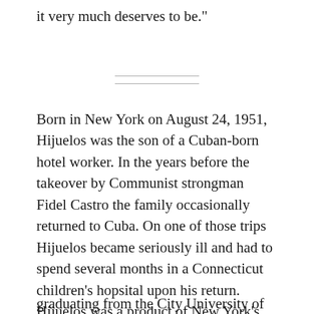it very much deserves to be."
Born in New York on August 24, 1951, Hijuelos was the son of a Cuban-born hotel worker. In the years before the takeover by Communist strongman Fidel Castro the family occasionally returned to Cuba. On one of those trips Hijuelos became seriously ill and had to spend several months in a Connecticut children's hopsital upon his return. Hijuelos was a product of New York's public education system through the Master's degree level, graduating from the City University of New
graduating from the City University of New